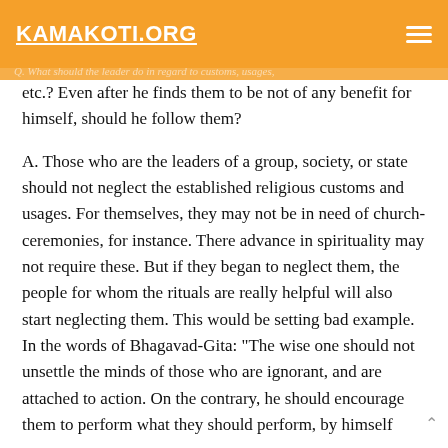KAMAKOTI.ORG
Q. What should the leader do in regard to customs, usages, etc.? Even after he finds them to be not of any benefit for himself, should he follow them?
A. Those who are the leaders of a group, society, or state should not neglect the established religious customs and usages. For themselves, they may not be in need of church-ceremonies, for instance. There advance in spirituality may not require these. But if they began to neglect them, the people for whom the rituals are really helpful will also start neglecting them. This would be setting bad example. In the words of Bhagavad-Gita: "The wise one should not unsettle the minds of those who are ignorant, and are attached to action. On the contrary, he should encourage them to perform what they should perform, by himself